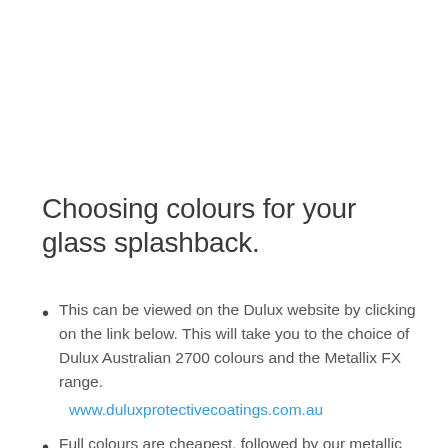Choosing colours for your glass splashback.
This can be viewed on the Dulux website by clicking on the link below. This will take you to the choice of Dulux Australian 2700 colours and the Metallix FX range.
www.duluxprotectivecoatings.com.au
Full colours are cheapest, followed by our metallic FX colour range. Custom colours incur an extra charge due to the extra time for us to cater for this